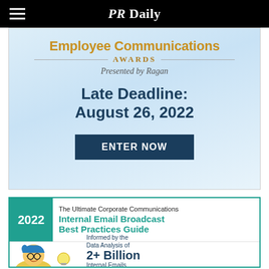PR Daily
[Figure (infographic): Employee Communications Awards presented by Ragan — Late Deadline: August 26, 2022 — ENTER NOW button on light blue cloud background]
[Figure (infographic): 2022 The Ultimate Corporate Communications Internal Email Broadcast Best Practices Guide — Informed by the Data Analysis of 2+ Billion Internal Emails sent to nearly — with illustrated character wearing glasses]